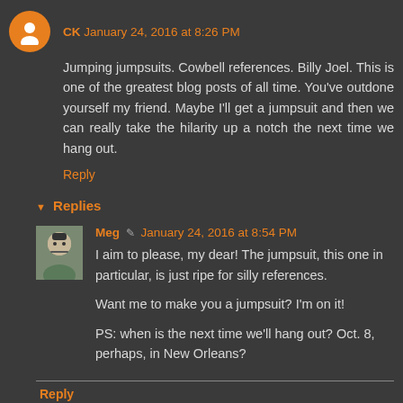CK January 24, 2016 at 8:26 PM
Jumping jumpsuits. Cowbell references. Billy Joel. This is one of the greatest blog posts of all time. You've outdone yourself my friend. Maybe I'll get a jumpsuit and then we can really take the hilarity up a notch the next time we hang out.
Reply
Replies
Meg January 24, 2016 at 8:54 PM
I aim to please, my dear! The jumpsuit, this one in particular, is just ripe for silly references.

Want me to make you a jumpsuit? I'm on it!

PS: when is the next time we'll hang out? Oct. 8, perhaps, in New Orleans?
Reply